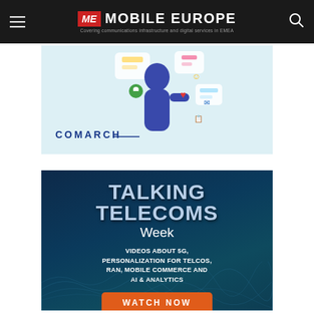ME MOBILE EUROPE — Covering communications infrastructure and digital services in EMEA
[Figure (illustration): Comarch advertisement banner showing a person in a blue hoodie surrounded by app/communication icons on a light blue background with 'COMARCH' text]
[Figure (illustration): Talking Telecoms Week advertisement on dark teal/navy background with text: 'TALKING TELECOMS Week — VIDEOS ABOUT 5G, PERSONALIZATION FOR TELCOS, RAN, MOBILE COMMERCE AND AI & ANALYTICS' and an orange 'WATCH NOW' button]